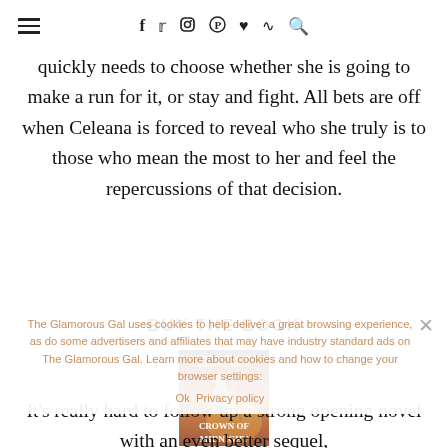≡ f t ⊙ ⊕ ♥ ))) 🔍
quickly needs to choose whether she is going to make a run for it, or stay and fight. All bets are off when Celeana is forced to reveal who she truly is to those who mean the most to her and feel the repercussions of that decision.
BUY THE BOOK
[Figure (illustration): Book cover of Crown of Midnight by Sarah J. Maas]
The Glamorous Gal uses cookies to help deliver a great browsing experience, as do some advertisers and affiliates that may have industry standard ads on The Glamorous Gal. Learn more about cookies and how to change your browser settings:
It's really hard to follow up a strong opening novel with an even better sequel, but Crown of Midnight does not miss the